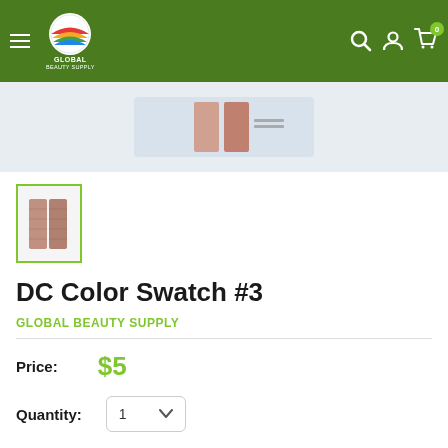[Figure (logo): Global Beauty Supply logo with colorful globe icon on dark green header bar with hamburger menu, search, account, and cart icons]
[Figure (photo): Product image area showing DC Color Swatch #3 in a light blue-grey background]
[Figure (photo): Thumbnail of DC Color Swatch #3 with green border]
DC Color Swatch #3
GLOBAL BEAUTY SUPPLY
Price: $5
Quantity: 1